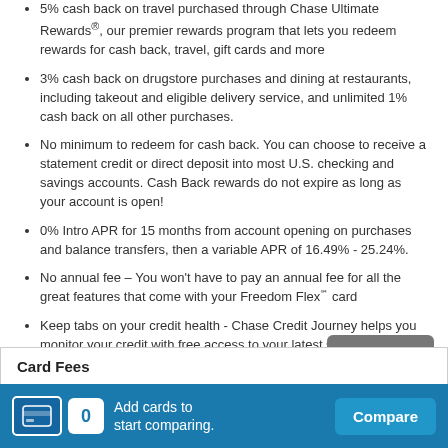5% cash back on travel purchased through Chase Ultimate Rewards®, our premier rewards program that lets you redeem rewards for cash back, travel, gift cards and more
3% cash back on drugstore purchases and dining at restaurants, including takeout and eligible delivery service, and unlimited 1% cash back on all other purchases.
No minimum to redeem for cash back. You can choose to receive a statement credit or direct deposit into most U.S. checking and savings accounts. Cash Back rewards do not expire as long as your account is open!
0% Intro APR for 15 months from account opening on purchases and balance transfers, then a variable APR of 16.49% - 25.24%.
No annual fee – You won't have to pay an annual fee for all the great features that come with your Freedom Flex℠ card
Keep tabs on your credit health - Chase Credit Journey helps you monitor your credit with free access to your latest score, real-time alerts, and more.
Card Fees
Add cards to start comparing.